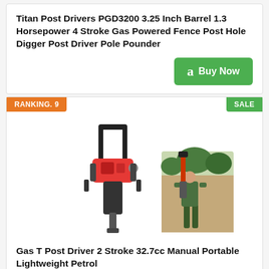Titan Post Drivers PGD3200 3.25 Inch Barrel 1.3 Horsepower 4 Stroke Gas Powered Fence Post Hole Digger Post Driver Pole Pounder
Buy Now
RANKING. 9
SALE
[Figure (photo): Gas T Post Driver tool shown in two views: standalone product image of a handheld gas-powered post driver with red engine and black handle, and a person using the tool outdoors to drive a post into the ground.]
Gas T Post Driver 2 Stroke 32.7cc Manual Portable Lightweight Petrol